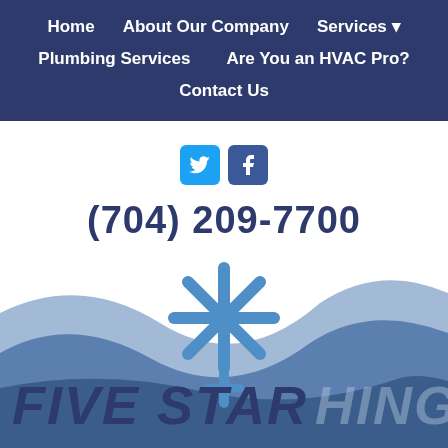Home | About Our Company | Services | Plumbing Services | Are You an HVAC Pro? | Contact Us
[Figure (logo): Twitter and Facebook social media icons (blue squares with bird and f logos)]
(704) 209-7700
[Figure (illustration): Blue snowflake / HVAC asterisk icon above wave background]
FIVE STAR
HING